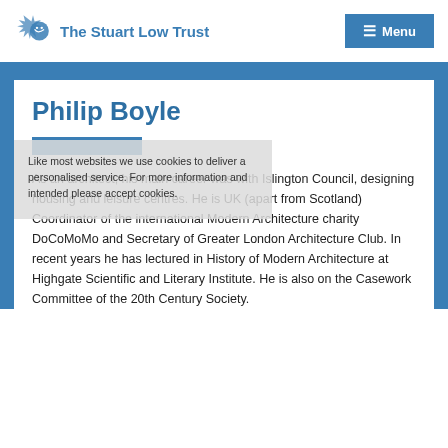The Stuart Low Trust  Menu
Philip Boyle
As an architect, his main career was with Islington Council, designing housing and leisure centres. He is UK (apart from Scotland) Coordinator of the international Modern Architecture charity DoCoMoMo and Secretary of Greater London Architecture Club. In recent years he has lectured in History of Modern Architecture at Highgate Scientific and Literary Institute. He is also on the Casework Committee of the 20th Century Society.
Like most websites we use cookies to deliver a personalised service. For more information and intended please accept cookies.